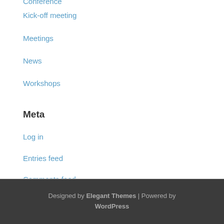Conference
Kick-off meeting
Meetings
News
Workshops
Meta
Log in
Entries feed
Comments feed
WordPress.org
Designed by Elegant Themes | Powered by WordPress